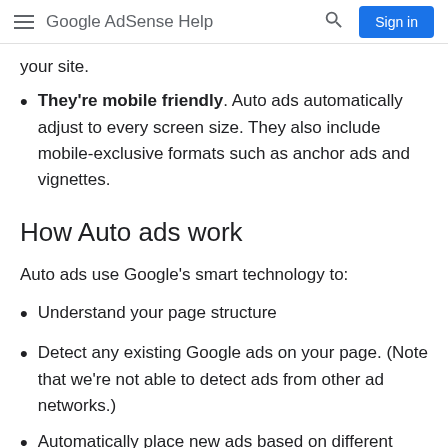Google AdSense Help
your site.
They're mobile friendly. Auto ads automatically adjust to every screen size. They also include mobile-exclusive formats such as anchor ads and vignettes.
How Auto ads work
Auto ads use Google's smart technology to:
Understand your page structure
Detect any existing Google ads on your page. (Note that we're not able to detect ads from other ad networks.)
Automatically place new ads based on different